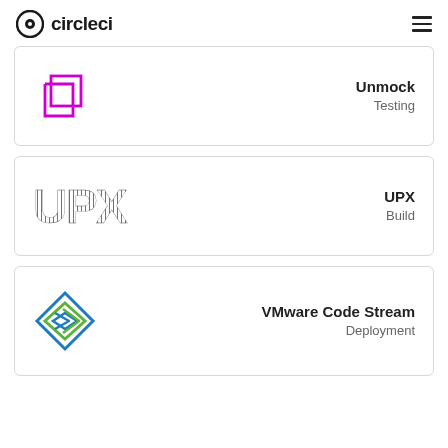circleci
[Figure (logo): Unmock logo: two overlapping magenta square outlines (copy/paste icon style)]
Unmock
Testing
[Figure (logo): UPX logo: bold striped letters UPX in dark gray]
UPX
Build
[Figure (logo): VMware Code Stream logo: diamond arrow shapes in blue and green]
VMware Code Stream
Deployment